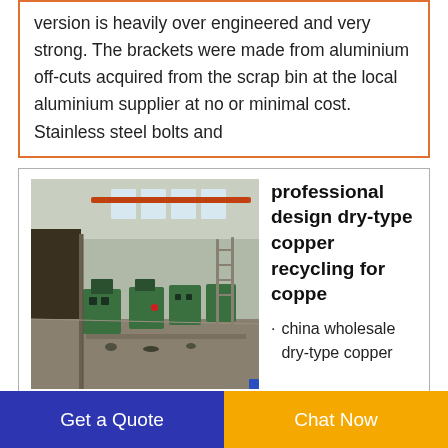version is heavily over engineered and very strong. The brackets were made from aluminium off-cuts acquired from the scrap bin at the local aluminium supplier at no or minimal cost. Stainless steel bolts and
[Figure (photo): Industrial factory floor showing rows of green metal wire recycling machines in a large warehouse with high windows and overhead cranes.]
professional design dry-type copper recycling for coppe
china wholesale dry-type copper recycling for sale philippines China best seller MSY-80 scrap wire peeling for metal separation aluminum crusher copper wire granulator machine From China Recycle
Get a Quote  |  Chat Now